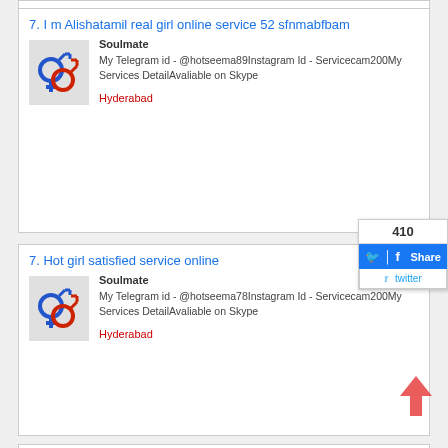7. I m Alishatamil real girl online service 52 sfnmabfbam
Soulmate
My Telegram id - @hotseema89Instagram Id - Servicecam200My Services DetailAvaliable on Skype

Hyderabad
[Figure (illustration): Gender symbols icon: blue female cross and red male arrow overlapping]
7. Hot girl satisfied service online
Soulmate
My Telegram id - @hotseema78Instagram Id - Servicecam200My Services DetailAvaliable on Skype

Hyderabad
[Figure (illustration): Gender symbols icon: blue female cross and red male arrow overlapping]
Best Sales & Distribution (SAP SD) Module Online Trai...